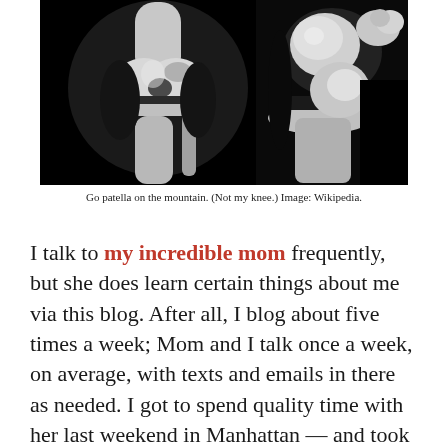[Figure (photo): Two X-ray images of a knee joint side by side. Left image shows a frontal view of the knee, right image shows a lateral/side view. Both are grayscale medical radiographs on a black background.]
Go patella on the mountain. (Not my knee.) Image: Wikipedia.
I talk to my incredible mom frequently, but she does learn certain things about me via this blog. After all, I blog about five times a week; Mom and I talk once a week, on average, with texts and emails in there as needed. I got to spend quality time with her last weekend in Manhattan — and took a pretty terrific selfie with her and legendary quilters Paula